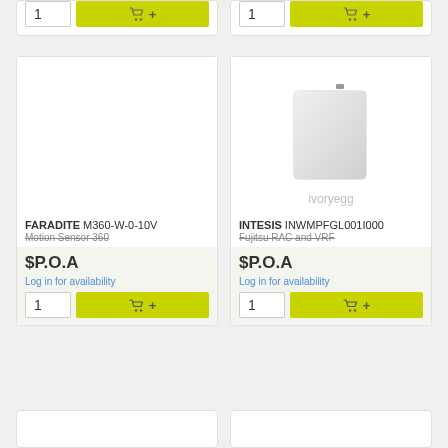[Figure (screenshot): Top partial product cards with quantity input and add-to-cart button, showing '1' in quantity box and cart icon with '+' button]
[Figure (photo): Product image area for FARADITE M360-W-0-10V, shown as blank white card image area]
FARADITE M360-W-0-10V
Motion Sensor 360
$P.O.A
Log in for availability
[Figure (photo): Product image of INTESIS INWMPFGL001I000 device - white rectangular box-shaped hardware unit with small connector on top, ivoryegg watermark below]
INTESIS INWMPFGL001I000
Fujitsu RAC and VRF
$P.O.A
Log in for availability
[Figure (screenshot): Bottom partial product card stubs, two white cards partially visible at bottom of page]